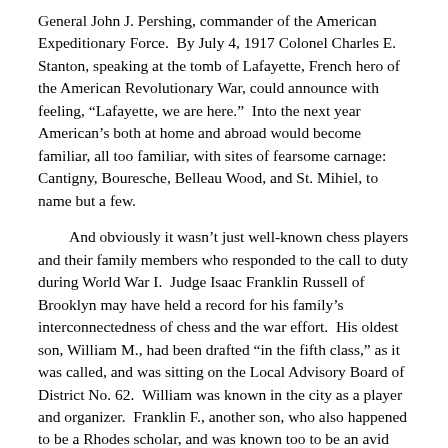General John J. Pershing, commander of the American Expeditionary Force.  By July 4, 1917 Colonel Charles E. Stanton, speaking at the tomb of Lafayette, French hero of the American Revolutionary War, could announce with feeling, “Lafayette, we are here.”  Into the next year American’s both at home and abroad would become familiar, all too familiar, with sites of fearsome carnage: Cantigny, Bouresche, Belleau Wood, and St. Mihiel, to name but a few.
And obviously it wasn’t just well-known chess players and their family members who responded to the call to duty during World War I.  Judge Isaac Franklin Russell of Brooklyn may have held a record for his family’s interconnectedness of chess and the war effort.  His oldest son, William M., had been drafted “in the fifth class,” as it was called, and was sitting on the Local Advisory Board of District No. 62.  William was known in the city as a player and organizer.  Franklin F., another son, who also happened to be a Rhodes scholar, and was known too to be an avid fan of chess, was in London serving with the Railway Transportation Corps.  George, the judge’s third son, arrived in